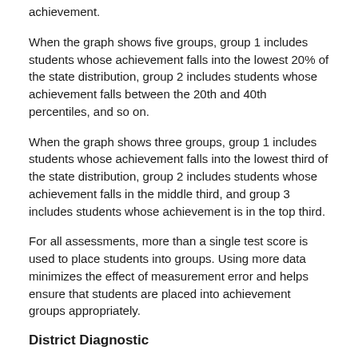achievement.
When the graph shows five groups, group 1 includes students whose achievement falls into the lowest 20% of the state distribution, group 2 includes students whose achievement falls between the 20th and 40th percentiles, and so on.
When the graph shows three groups, group 1 includes students whose achievement falls into the lowest third of the state distribution, group 2 includes students whose achievement falls in the middle third, and group 3 includes students whose achievement is in the top third.
For all assessments, more than a single test score is used to place students into groups. Using more data minimizes the effect of measurement error and helps ensure that students are placed into achievement groups appropriately.
District Diagnostic
Students are divided into five equal groups based on where their achievement in the selected subject falls in the